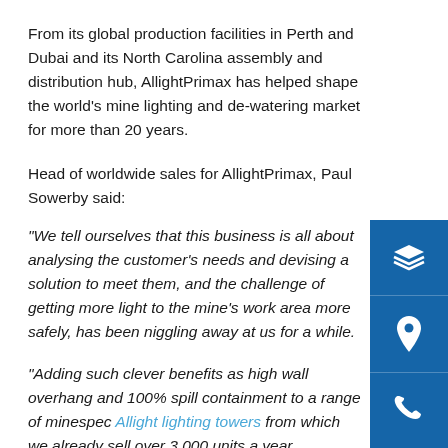From its global production facilities in Perth and Dubai and its North Carolina assembly and distribution hub, AllightPrimax has helped shape the world's mine lighting and de-watering market for more than 20 years.
Head of worldwide sales for AllightPrimax, Paul Sowerby said:
“We tell ourselves that this business is all about analysing the customer’s needs and devising a solution to meet them, and the challenge of getting more light to the mine’s work area more safely, has been niggling away at us for a while.
“Adding such clever benefits as high wall overhang and 100% spill containment to a range of minespec Allight lighting towers from which we already sell over 3,000 units a year worldwide, means all the added productivity and safety achievements are wrapped up in best-practice technology. It’s a hell of a cocktail, and is really going to raise the bar.”
[Figure (infographic): Blue sidebar with three white icons: layers/stack icon, location pin icon, and phone icon]